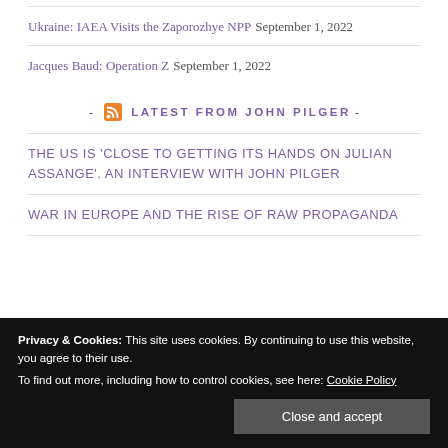Ukraine: IAEA Visits the Zaporozhye NPP September 1, 2022
Jacques Baud: Operation Z September 1, 2022
- LATEST FROM JOHN PILGER -
THE US IS 'CLOSE TO GETTING ITS HANDS ON JULIAN ASSANGE'. AN INTERVIEW WITH JOHN PILGER
WAR IN EUROPE AND THE RISE OF RAW PROPAGANDA
Privacy & Cookies: This site uses cookies. By continuing to use this website, you agree to their use.
To find out more, including how to control cookies, see here: Cookie Policy